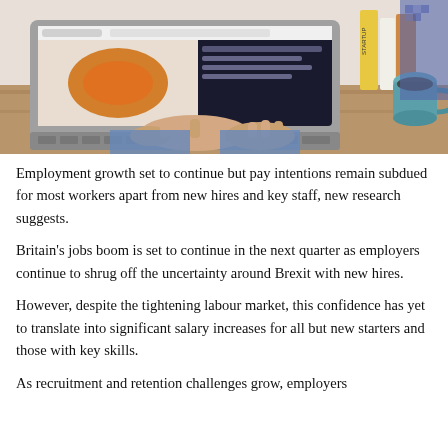[Figure (photo): Overhead photo of a person typing on a MacBook laptop at a wooden desk, with books, a coffee mug, and other office items visible in the background.]
Employment growth set to continue but pay intentions remain subdued for most workers apart from new hires and key staff, new research suggests.
Britain's jobs boom is set to continue in the next quarter as employers continue to shrug off the uncertainty around Brexit with new hires.
However, despite the tightening labour market, this confidence has yet to translate into significant salary increases for all but new starters and those with key skills.
As recruitment and retention challenges grow, employers